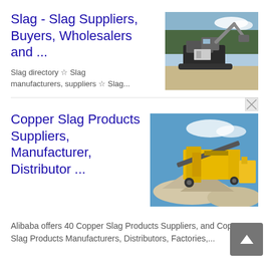Slag - Slag Suppliers, Buyers, Wholesalers and ...
[Figure (photo): Construction excavator machine working at a site with trees in background]
Slag directory ☆ Slag manufacturers, suppliers ☆ Slag...
Copper Slag Products Suppliers, Manufacturer, Distributor ...
[Figure (photo): Industrial mining/crushing equipment with aggregate piles under blue sky]
Alibaba offers 40 Copper Slag Products Suppliers, and Copper Slag Products Manufacturers, Distributors, Factories,...